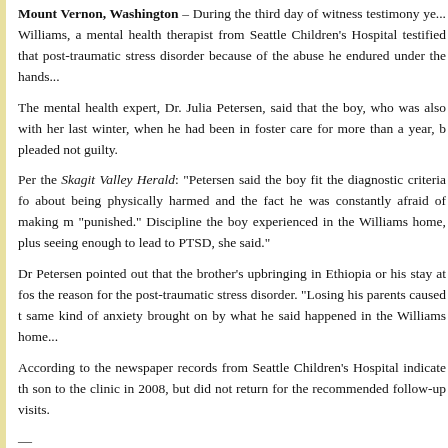Mount Vernon, Washington – During the third day of witness testimony ye... Williams, a mental health therapist from Seattle Children's Hospital testified that... post-traumatic stress disorder because of the abuse he endured under the hands...
The mental health expert, Dr. Julia Petersen, said that the boy, who was also... with her last winter, when he had been in foster care for more than a year, b... pleaded not guilty.
Per the Skagit Valley Herald: "Petersen said the boy fit the diagnostic criteria fo... about being physically harmed and the fact he was constantly afraid of making m... "punished." Discipline the boy experienced in the Williams home, plus seeing... enough to lead to PTSD, she said."
Dr Petersen pointed out that the brother's upbringing in Ethiopia or his stay at fos... the reason for the post-traumatic stress disorder. "Losing his parents caused t... same kind of anxiety brought on by what he said happened in the Williams home...
According to the newspaper records from Seattle Children's Hospital indicate th... son to the clinic in 2008, but did not return for the recommended follow-up visits.
—
Related:
In Williams Trial, Expert Testifies Hana and Her Brother Were 'Tortured'...